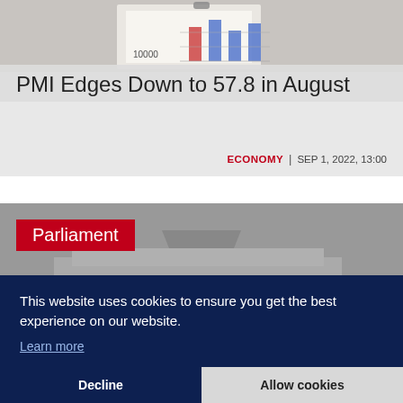[Figure (photo): Background image of a clipboard with bar chart showing financial/economic data with blue and orange bars, and the number 10000 visible]
PMI Edges Down to 57.8 in August
ECONOMY | SEP 1, 2022, 13:00
[Figure (photo): Black and white photograph of a parliament building exterior with crowds of people below]
Parliament
This website uses cookies to ensure you get the best experience on our website. Learn more
Decline
Allow cookies